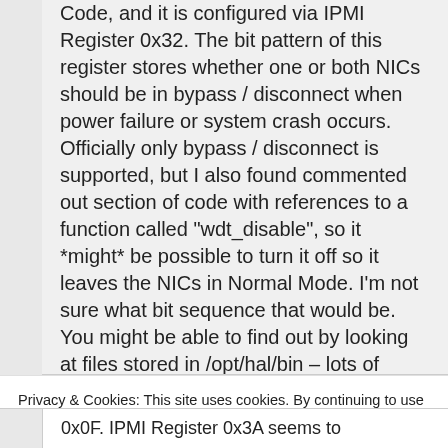Code, and it is configured via IPMI Register 0x32. The bit pattern of this register stores whether one or both NICs should be in bypass / disconnect when power failure or system crash occurs. Officially only bypass / disconnect is supported, but I also found commented out section of code with references to a function called "wdt_disable", so it *might* be possible to turn it off so it leaves the NICs in Normal Mode. I'm not sure what bit sequence that would be. You might be able to find out by looking at files stored in /opt/hal/bin – lots of
Privacy & Cookies: This site uses cookies. By continuing to use this website, you agree to their use.
To find out more, including how to control cookies, see here: Cookie Policy
0x0F. IPMI Register 0x3A seems to